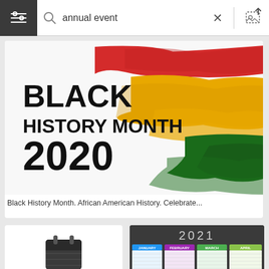[Figure (screenshot): Search bar UI with hamburger menu icon, magnifying glass, search query 'annual event', X close button, and image upload icon]
[Figure (illustration): Black History Month 2020 promotional graphic with bold black text on white background and diagonal brushstroke bands in red, yellow/gold, and green]
Black History Month. African American History. Celebrate...
[Figure (illustration): Calendar icon graphic on white background]
[Figure (illustration): 2021 annual calendar with colorful monthly grids on dark gray background showing January, February, March, April]